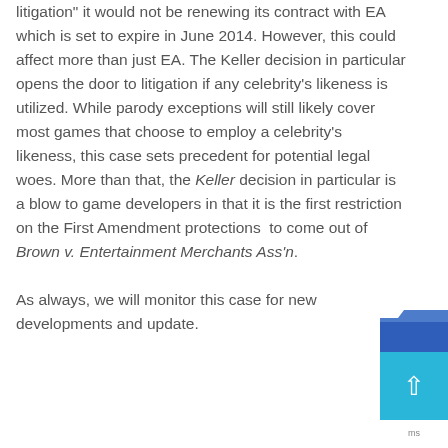litigation" it would not be renewing its contract with EA which is set to expire in June 2014.  However, this could affect more than just EA.  The Keller decision in particular opens the door to litigation if any celebrity's likeness is utilized.  While parody exceptions will still likely cover most games that choose to employ a celebrity's likeness, this case sets precedent for potential legal woes.  More than that, the Keller decision in particular is a blow to game developers in that it is the first restriction on the First Amendment protections  to come out of Brown v. Entertainment Merchants Ass'n.

As always, we will monitor this case for new developments and update.